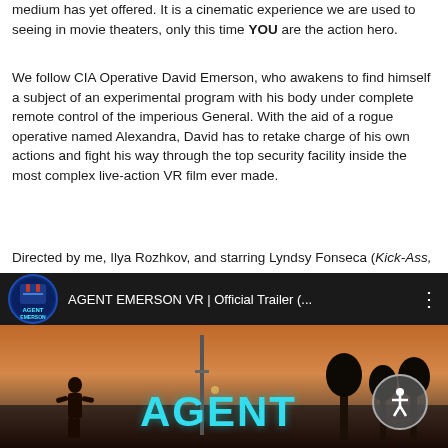medium has yet offered. It is a cinematic experience we are used to seeing in movie theaters, only this time YOU are the action hero.
We follow CIA Operative David Emerson, who awakens to find himself a subject of an experimental program with his body under complete remote control of the imperious General. With the aid of a rogue operative named Alexandra, David has to retake charge of his own actions and fight his way through the top security facility inside the most complex live-action VR film ever made.
Directed by me, Ilya Rozhkov, and starring Lyndsy Fonseca (Kick-Ass, How I Met Your Mother) and Tony Denison (Major Crimes, The Closer), Agent Emerson was shot in Los Angeles and in Louisiana.
[Figure (screenshot): YouTube video screenshot showing Agent Emerson VR Official Trailer with dark UI bar at top containing logo thumbnail and title text, and a cinematic action scene below with teal AGENT text overlay and accessibility icon]